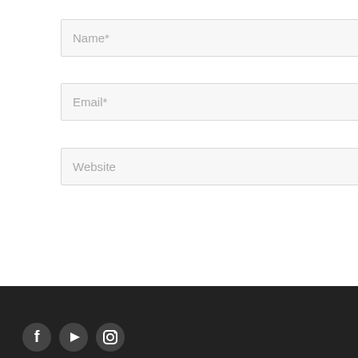Name*
Email*
Website
Post Comment »
[Figure (illustration): Dark footer bar with three social media icons (Facebook, YouTube, Instagram) at the bottom left]